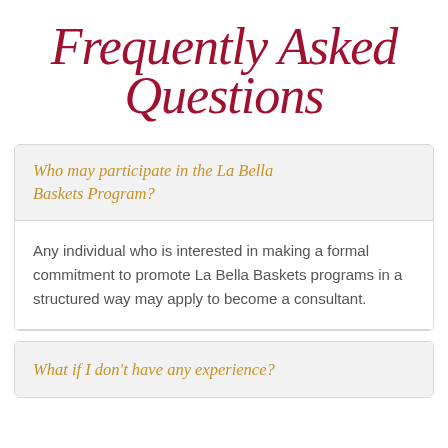Frequently Asked Questions
Who may participate in the La Bella Baskets Program?
Any individual who is interested in making a formal commitment to promote La Bella Baskets programs in a structured way may apply to become a consultant.
What if I don't have any experience?